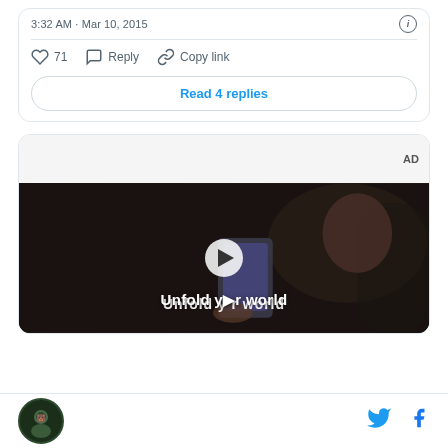3:32 AM · Mar 10, 2015
❤ 71   Reply   Copy link
Read 4 replies
[Figure (screenshot): Advertisement banner with gray background labeled AD]
[Figure (photo): Video thumbnail showing a person holding a foldable phone in a dark car interior with text 'Unfold your world' and a play button overlay]
Site logo | Twitter icon | Facebook icon